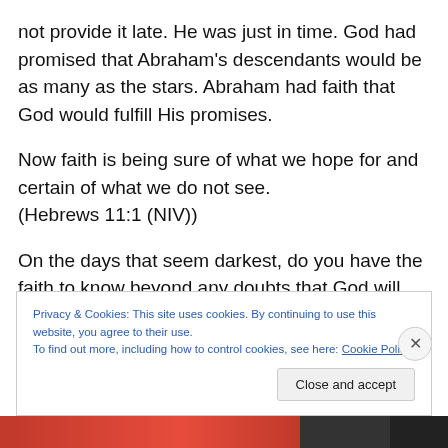not provide it late. He was just in time. God had promised that Abraham's descendants would be as many as the stars. Abraham had faith that God would fulfill His promises.
Now faith is being sure of what we hope for and certain of what we do not see.
(Hebrews 11:1 (NIV))
On the days that seem darkest, do you have the faith to know beyond any doubts that God will provide? When you
Privacy & Cookies: This site uses cookies. By continuing to use this website, you agree to their use.
To find out more, including how to control cookies, see here: Cookie Policy